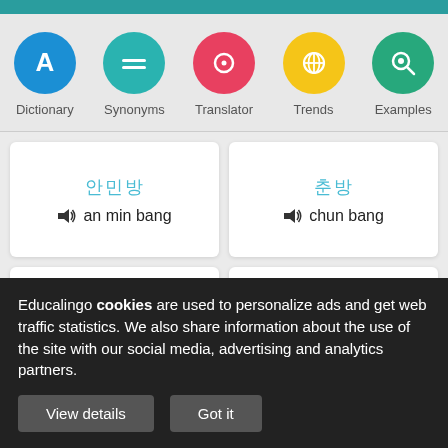[Figure (screenshot): Navigation icons row with Dictionary, Synonyms, Translator, Trends, Examples]
[Figure (screenshot): Card showing Korean characters and 'an min bang']
[Figure (screenshot): Card showing Korean characters and 'chun bang']
[Figure (screenshot): Card showing Korean characters and 'chun gin bang' (partially visible)]
[Figure (screenshot): Card showing Korean characters and 'han bang' (partially visible)]
Educalingo cookies are used to personalize ads and get web traffic statistics. We also share information about the use of the site with our social media, advertising and analytics partners.